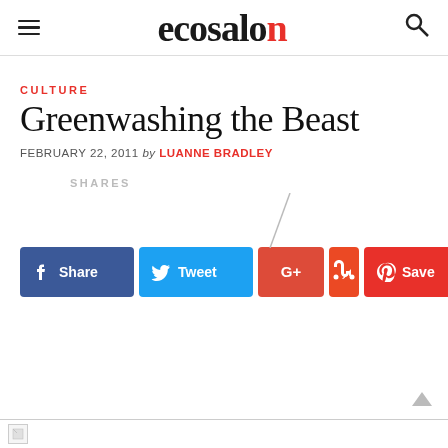ecosalon
CULTURE
Greenwashing the Beast
FEBRUARY 22, 2011 by LUANNE BRADLEY
SHARES
[Figure (infographic): Social share buttons: Facebook Share, Twitter Tweet, Google+, StumbleUpon, Pinterest Save]
[Figure (photo): Partially visible image at bottom of page, appears broken/loading]